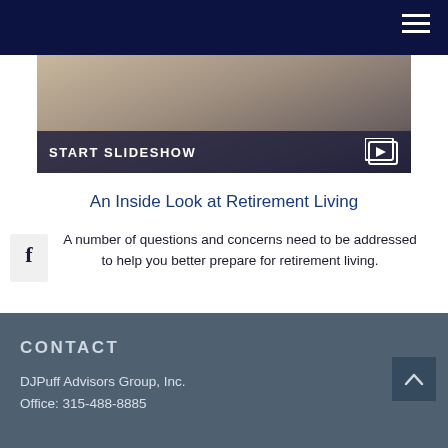Navigation bar with hamburger menu
[Figure (photo): Hero image showing a person using a tablet device, with a dark overlay banner at the bottom reading START SLIDESHOW with a slideshow icon]
An Inside Look at Retirement Living
A number of questions and concerns need to be addressed to help you better prepare for retirement living.
CONTACT
DJPuff Advisors Group, Inc.
Office: 315-488-8885